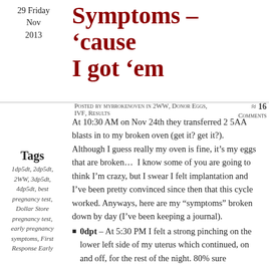29 Friday Nov 2013
Symptoms – ‘cause I got ‘em
Posted by mybrokenoven in 2WW, Donor Eggs, IVF, Results ≈ 16 Comments
At 10:30 AM on Nov 24th they transferred 2 5AA blasts in to my broken oven (get it? get it?). Although I guess really my oven is fine, it’s my eggs that are broken…  I know some of you are going to think I’m crazy, but I swear I felt implantation and I’ve been pretty convinced since then that this cycle worked. Anyways, here are my “symptoms” broken down by day (I’ve been keeping a journal).
Tags
1dp5dt, 2dp5dt, 2WW, 3dp5dt, 4dp5dt, best pregnancy test, Dollar Store pregnancy test, early pregnancy symptoms, First Response Early
0dpt – At 5:30 PM I felt a strong pinching on the lower left side of my uterus which continued, on and off, for the rest of the night. 80% sure...